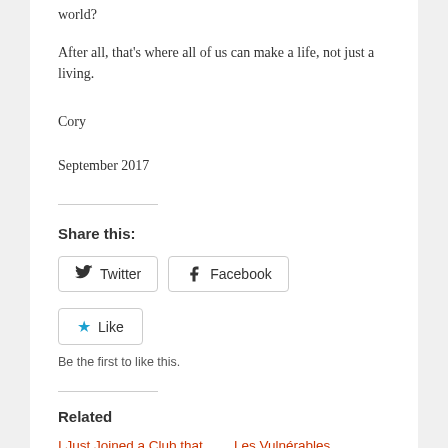world?
After all, that's where all of us can make a life, not just a living.
Cory
September 2017
Share this:
Twitter  Facebook
Like  Be the first to like this.
Related
I Just Joined a Club that No One Wh...
Les Vulnérables  September 30, 2020...